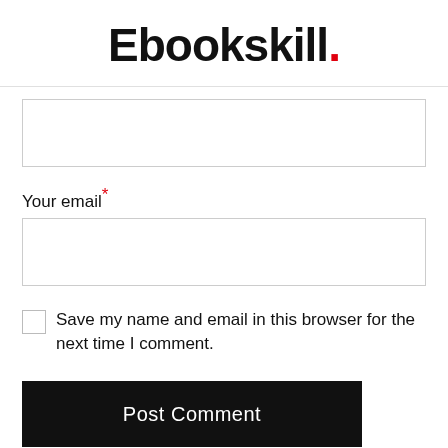Ebookskill.
Your email*
Save my name and email in this browser for the next time I comment.
Post Comment